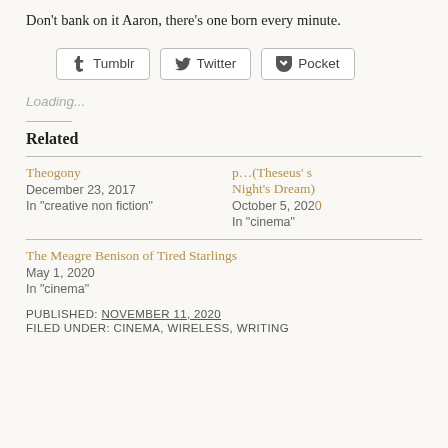Don’t bank on it Aaron, there’s one born every minute.
[Figure (other): Social share buttons for Tumblr, Twitter, and Pocket]
Loading...
Related
Theogony
December 23, 2017
In "creative non fiction"
p…(Theseus’ s… Night’s Dream)
October 5, 2020
In "cinema"
The Meagre Benison of Tired Starlings
May 1, 2020
In "cinema"
PUBLISHED: November 11, 2020
FILED UNDER: cinema, Wireless, writing